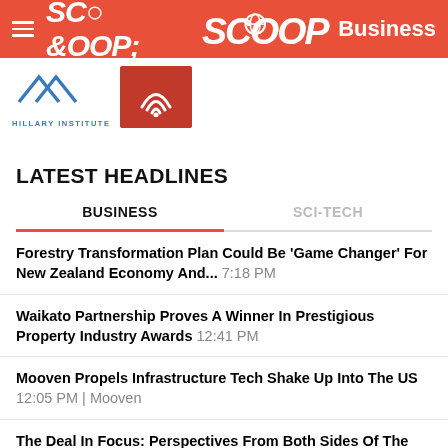SCOOP Business
[Figure (logo): Hillary Institute logo with chevron mark and text HILLARY INSTITUTE]
[Figure (logo): Red square logo with white wifi/signal icon]
LATEST HEADLINES
BUSINESS | SCI-TECH (tab navigation)
Forestry Transformation Plan Could Be 'Game Changer' For New Zealand Economy And... 7:18 PM
Waikato Partnership Proves A Winner In Prestigious Property Industry Awards 12:41 PM
Mooven Propels Infrastructure Tech Shake Up Into The US 12:05 PM | Mooven
The Deal In Focus: Perspectives From Both Sides Of The Tasman On The M&A Market 10:46 AM
Supply Sees Biggest Jump On Record While Prices Continue To Slump